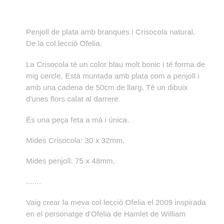Penjoll de plata amb branques i Crisocola natural. De la col.lecció Ofelia.
La Crisocola té un color blau molt bonic i té forma de mig cercle. Està muntada amb plata com a penjoll i amb una cadena de 50cm de llarg. Té un dibuix d'unes flors calat al darrere.
És una peça feta a mà i única.
Mides Crisocola: 30 x 32mm.
Mides penjoll: 75 x 48mm.
.......
Vaig crear la meva col·lecció Ofelia el 2009 inspirada en el personatge d'Ofelia de Hamlet de William